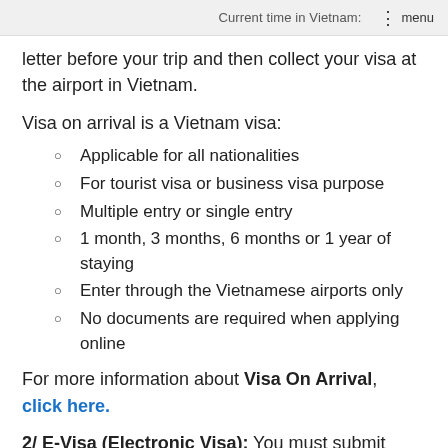Current time in Vietnam:   ⋮ menu
letter before your trip and then collect your visa at the airport in Vietnam.
Visa on arrival is a Vietnam visa:
Applicable for all nationalities
For tourist visa or business visa purpose
Multiple entry or single entry
1 month, 3 months, 6 months or 1 year of staying
Enter through the Vietnamese airports only
No documents are required when applying online
For more information about Visa On Arrival, click here.
2/ E-Visa (Electronic Visa): You must submit